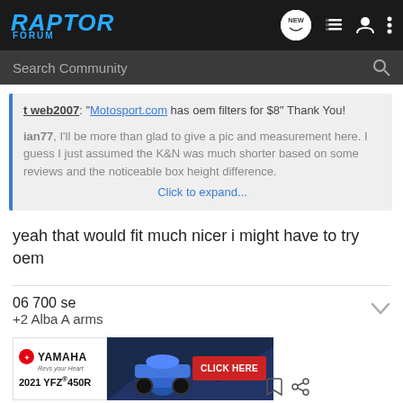Raptor Forum
Search Community
t web2007: "Motosport.com has oem filters for $8" Thank You!

ian77, I'll be more than glad to give a pic and measurement here. I guess I just assumed the K&N was much shorter based on some reviews and the noticeable box height difference.
Click to expand...
yeah that would fit much nicer i might have to try oem
06 700 se
+2 Alba A arms
[Figure (screenshot): Yamaha 2021 YFZ 450R advertisement banner with Click Here button]